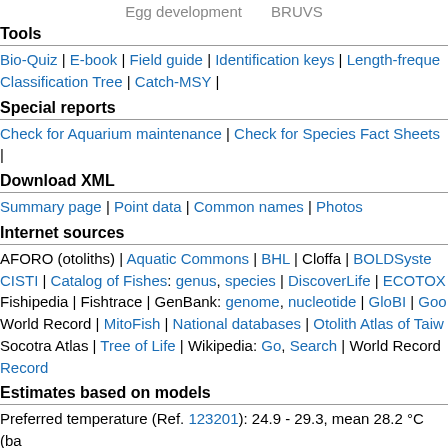Egg development    BRUVS
Tools
Bio-Quiz | E-book | Field guide | Identification keys | Length-freque... Classification Tree | Catch-MSY |
Special reports
Check for Aquarium maintenance | Check for Species Fact Sheets |
Download XML
Summary page | Point data | Common names | Photos
Internet sources
AFORO (otoliths) | Aquatic Commons | BHL | Cloffa | BOLDSyste... CISTI | Catalog of Fishes: genus, species | DiscoverLife | ECOTOX... Fishipedia | Fishtrace | GenBank: genome, nucleotide | GloBI | Goo... World Record | MitoFish | National databases | Otolith Atlas of Taiw... Socotra Atlas | Tree of Life | Wikipedia: Go, Search | World Record... Record
Estimates based on models
Preferred temperature (Ref. 123201): 24.9 - 29.3, mean 28.2 °C (ba...
Phylogenetic diversity index (Ref. 82804): PDse = 0.5003... [Li...